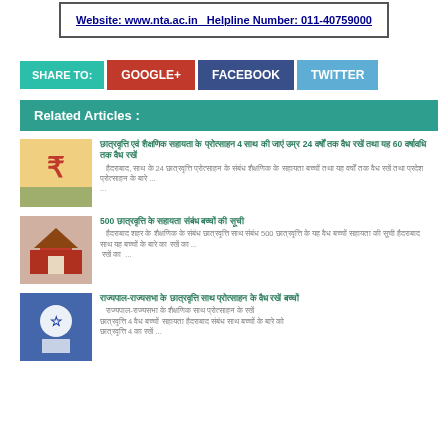Website: www.nta.ac.in   Helpline Number: 011-40759000
SHARE TO:  GOOGLE+  FACEBOOK  TWITTER
Related Articles :
[Hindi article title 1 - financial/scholarship related with 24 and 60 mentioned]
[Hindi article description 1 - mentions 24 and scholarship details] ...
500 [Hindi article title 2]
[Hindi article description 2 - mentions 500] ...
[Hindi article title 3 - compound title]
[Hindi article description 3] ...